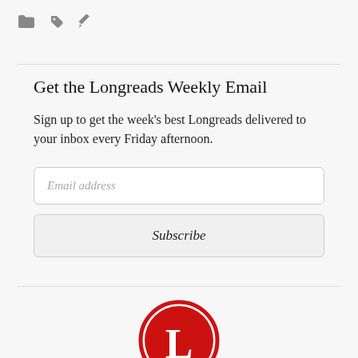[Figure (other): Toolbar icons: folder, tag/label, pencil/edit — gray icons]
Get the Longreads Weekly Email
Sign up to get the week's best Longreads delivered to your inbox every Friday afternoon.
[Figure (logo): Longreads Members badge: red circle with white L, red ribbon banner with MEMBERS text in white]